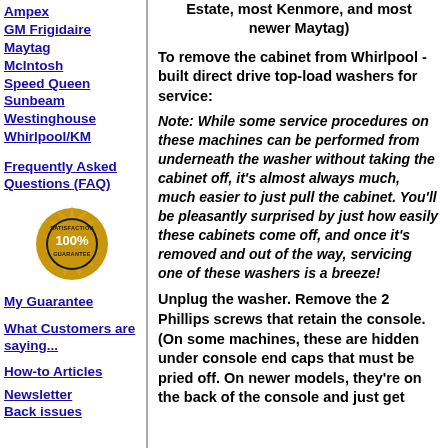Estate, most Kenmore, and most newer Maytag)
Ampex
GM Frigidaire
Maytag
McIntosh
Speed Queen
Sunbeam
Westinghouse
Whirlpool/KM
Frequently Asked Questions (FAQ)
[Figure (illustration): Satisfaction Guarantee 100% badge/seal in gold and black]
My Guarantee
What Customers are saying...
How-to Articles
Newsletter Back issues
To remove the cabinet from Whirlpool - built direct drive top-load washers for service:
Note: While some service procedures on these machines can be performed from underneath the washer without taking the cabinet off, it's almost always much, much easier to just pull the cabinet. You'll be pleasantly surprised by just how easily these cabinets come off, and once it's removed and out of the way, servicing one of these washers is a breeze!
Unplug the washer. Remove the 2 Phillips screws that retain the console. (On some machines, these are hidden under console end caps that must be pried off. On newer models, they're on the back of the console and just get